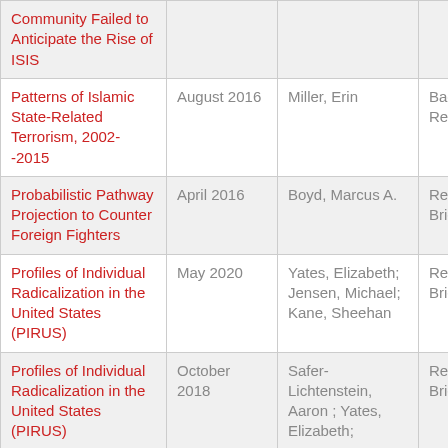| Title | Date | Author | Type |
| --- | --- | --- | --- |
| Community Failed to Anticipate the Rise of ISIS |  |  |  |
| Patterns of Islamic State-Related Terrorism, 2002--2015 | August 2016 | Miller, Erin | Background Report |
| Probabilistic Pathway Projection to Counter Foreign Fighters | April 2016 | Boyd, Marcus A. | Research Brief |
| Profiles of Individual Radicalization in the United States (PIRUS) | May 2020 | Yates, Elizabeth; Jensen, Michael; Kane, Sheehan | Research Brief |
| Profiles of Individual Radicalization in the United States (PIRUS) | October 2018 | Safer-Lichtenstein, Aaron ; Yates, Elizabeth; | Research Brief |